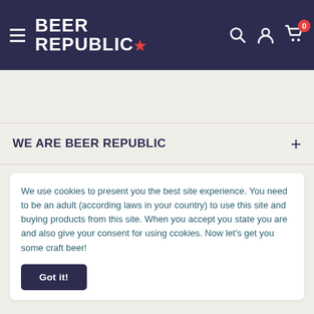BEER REPUBLIC
WE ARE BEER REPUBLIC
We use cookies to present you the best site experience. You need to be an adult (according laws in your country) to use this site and buying products from this site. When you accept you state you are and also give your consent for using ccokies. Now let's get you some craft beer!
Got it!
The latest arrivals, news, stories and deals. Don't miss